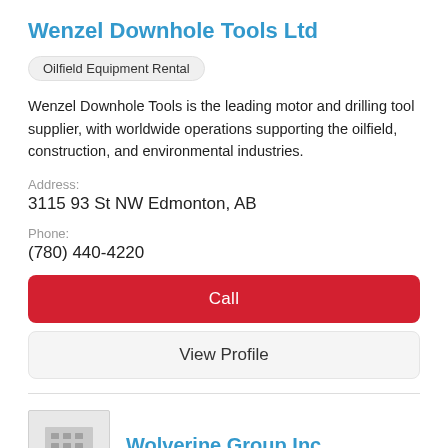Wenzel Downhole Tools Ltd
Oilfield Equipment Rental
Wenzel Downhole Tools is the leading motor and drilling tool supplier, with worldwide operations supporting the oilfield, construction, and environmental industries.
Address:
3115 93 St NW Edmonton, AB
Phone:
(780) 440-4220
Call
View Profile
[Figure (illustration): Generic building/office icon in grey square]
Wolverine Group Inc